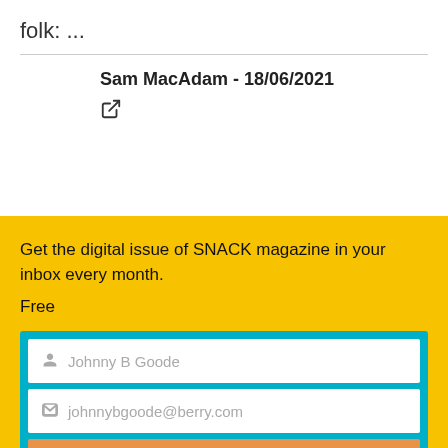folk: ...
Sam MacAdam - 18/06/2021
[Figure (other): Share/external link icon]
Get the digital issue of SNACK magazine in your inbox every month.
Free
[Figure (screenshot): Newsletter signup form with name field (Johnny B Goode), email field (johnnybgoode@berry.com), and Join button]